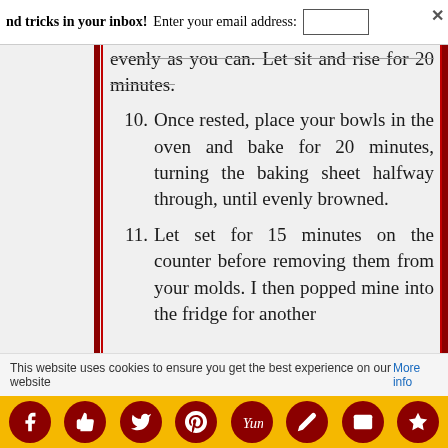nd tricks in your inbox! Enter your email address:
evenly as you can. Let sit and rise for 20 minutes.
10. Once rested, place your bowls in the oven and bake for 20 minutes, turning the baking sheet halfway through, until evenly browned.
11. Let set for 15 minutes on the counter before removing them from your molds. I then popped mine into the fridge for another
This website uses cookies to ensure you get the best experience on our website More info